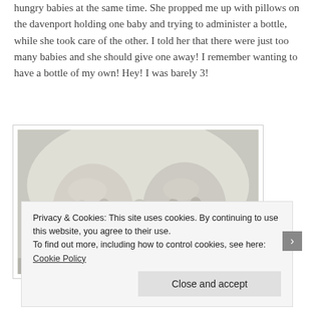hungry babies at the same time. She propped me up with pillows on the davenport holding one baby and trying to administer a bottle, while she took care of the other. I told her that there were just too many babies and she should give one away! I remember wanting to have a bottle of my own! Hey! I was barely 3!
[Figure (photo): Black and white photograph of two babies (twins) side by side, looking forward, in a portrait-style composition.]
Privacy & Cookies: This site uses cookies. By continuing to use this website, you agree to their use.
To find out more, including how to control cookies, see here: Cookie Policy
Close and accept